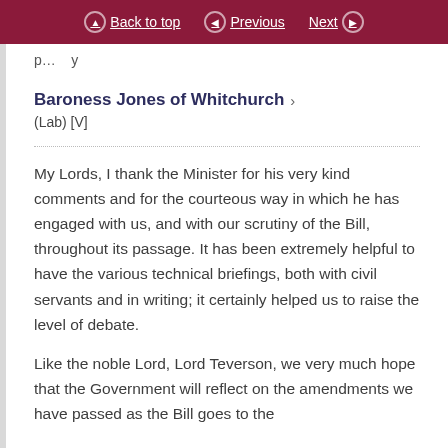Back to top  Previous  Next
(partial text cut off at top)
Baroness Jones of Whitchurch
(Lab) [V]
My Lords, I thank the Minister for his very kind comments and for the courteous way in which he has engaged with us, and with our scrutiny of the Bill, throughout its passage. It has been extremely helpful to have the various technical briefings, both with civil servants and in writing; it certainly helped us to raise the level of debate.
Like the noble Lord, Lord Teverson, we very much hope that the Government will reflect on the amendments we have passed as the Bill goes to the